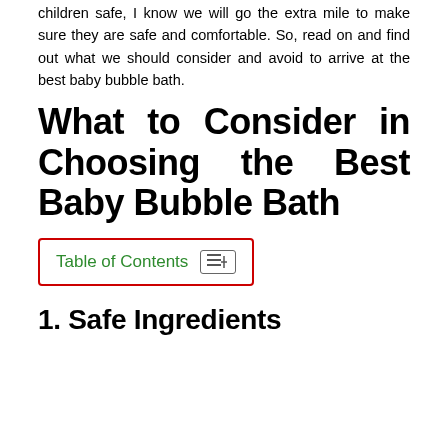children safe, I know we will go the extra mile to make sure they are safe and comfortable. So, read on and find out what we should consider and avoid to arrive at the best baby bubble bath.
What to Consider in Choosing the Best Baby Bubble Bath
Table of Contents
1. Safe Ingredients